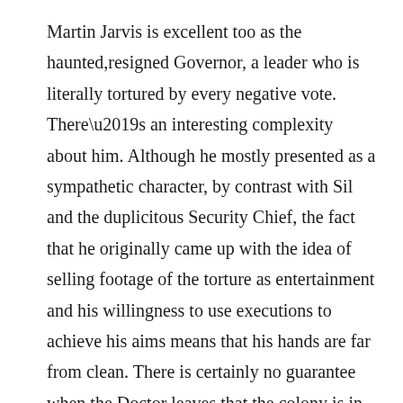Martin Jarvis is excellent too as the haunted,resigned Governor, a leader who is literally tortured by every negative vote. There’s an interesting complexity about him. Although he mostly presented as a sympathetic character, by contrast with Sil and the duplicitous Security Chief, the fact that he originally came up with the idea of selling footage of the torture as entertainment and his willingness to use executions to achieve his aims means that his hands are far from clean. There is certainly no guarantee when the Doctor leaves that the colony is in good hands. Colin Baker is in his early days here and his Doctor is still pretty bombastic and unsympathetic. Colin Baker’s idea that his Doctor would mellow over time proved to be bad choice in my opinion, since his character too often